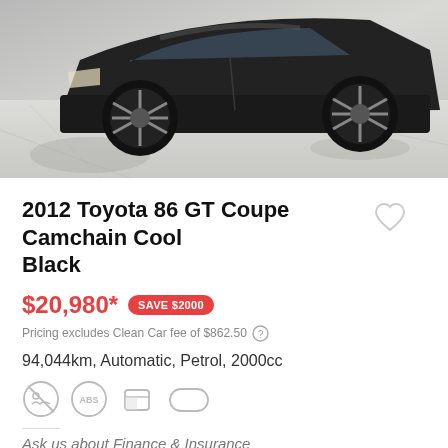[Figure (photo): Black Toyota 86 GT Coupe car with alloy wheels photographed from front-right angle on concrete surface]
2012 Toyota 86 GT Coupe Camchain Cool Black
$20,980* SAVE $2000
Pricing excludes Clean Car fee of $862.50
94,044km, Automatic, Petrol, 2000cc
[Figure (infographic): Four car feature icons: no smoking, ABS brakes, airbag/door, and side mirror]
Ask us about Finance & Insurance
Mt Wellington